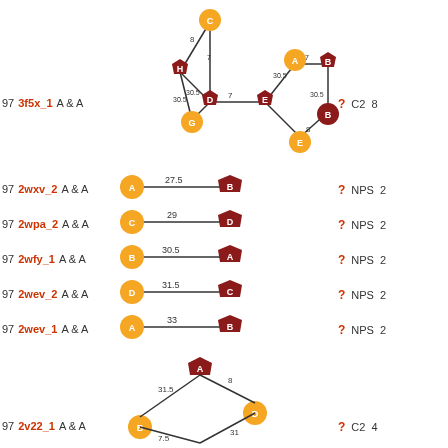[Figure (network-graph): Network graph for 3f5x_1 with nodes C, H, D, G, E, A, B, E labeled with edge weights 8, 30.5, 7, 30.5, 7, 30.5, 8]
97   3f5x_1   A & A   ?   C2   8
[Figure (network-graph): Two-node graph A-B with edge weight 27.5]
97   2wxv_2   A & A   ?   NPS   2
[Figure (network-graph): Two-node graph C-D with edge weight 29]
97   2wpa_2   A & A   ?   NPS   2
[Figure (network-graph): Two-node graph B-A with edge weight 30.5]
97   2wfy_1   A & A   ?   NPS   2
[Figure (network-graph): Two-node graph D-C with edge weight 31.5]
97   2wev_2   A & A   ?   NPS   2
[Figure (network-graph): Two-node graph A-B with edge weight 33]
97   2wev_1   A & A   ?   NPS   2
[Figure (network-graph): Three-node graph A-B-D with edge weights 8, 31.5, 31, 7.5]
97   2v22_1   A & A   ?   C2   4